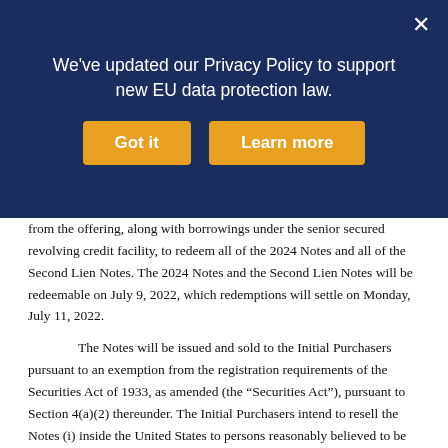[Figure (screenshot): Dark blue privacy policy banner overlay with text 'We've updated our Privacy Policy to support new EU data protection law.' and two orange buttons labeled 'Got it' and 'Learn more', with a white × close button in the top right corner.]
from the offering, along with borrowings under the senior secured revolving credit facility, to redeem all of the 2024 Notes and all of the Second Lien Notes. The 2024 Notes and the Second Lien Notes will be redeemable on July 9, 2022, which redemptions will settle on Monday, July 11, 2022.
The Notes will be issued and sold to the Initial Purchasers pursuant to an exemption from the registration requirements of the Securities Act of 1933, as amended (the “Securities Act”), pursuant to Section 4(a)(2) thereunder. The Initial Purchasers intend to resell the Notes (i) inside the United States to persons reasonably believed to be “qualified institutional buyers,” as defined in Rule 144A under the Securities Act (“Rule 144A”) in private sales exempt from registration under the Securities Act in accordance with Rule 144A, and (ii) to other eligible purchasers pursuant to offers and sales that occur outside the United States within the meaning of Regulation S under the